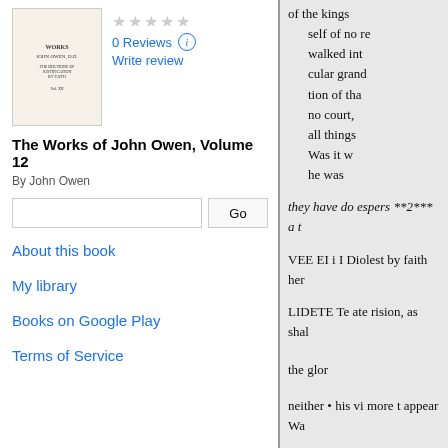[Figure (illustration): Book cover thumbnail for The Works of John Owen, Volume 12]
★★★★★
0 Reviews
Write review
The Works of John Owen, Volume 12
By John Owen
Go
About this book
My library
Books on Google Play
Terms of Service
of the kings
self of no re
walked int
cular grand
tion of tha
no court,
all things
Was it w
he was
they have do espers **2*** a t
VEE EI i I Diolest by faith her
LIDETE Te ate rision, as shal
the glor
neither • his vi more t appear Wa
RE133 i i i ll